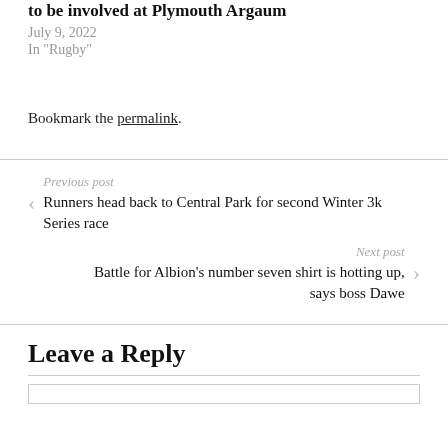to be involved at Plymouth Argaum
July 9, 2022
In "Rugby"
Bookmark the permalink.
Previous post
Runners head back to Central Park for second Winter 3k Series race
Next post
Battle for Albion's number seven shirt is hotting up, says boss Dawe
Leave a Reply